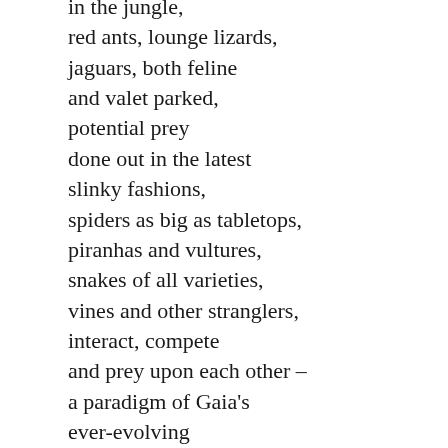in the jungle,
red ants, lounge lizards,
jaguars, both feline
and valet parked,
potential prey
done out in the latest
slinky fashions,
spiders as big as tabletops,
piranhas and vultures,
snakes of all varieties,
vines and other stranglers,
interact, compete
and prey upon each other –
a paradigm of Gaia's
ever-evolving